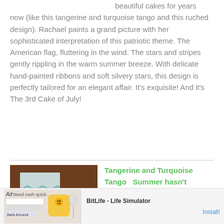beautiful cakes for years now (like this tangerine and turquoise tango and this ruched design). Rachael paints a grand picture with her sophisticated interpretation of this patriotic theme. The American flag, fluttering in the wind. The stars and stripes gently rippling in the warm summer breeze. With delicate hand-painted ribbons and soft silvery stars, this design is perfectly tailored for an elegant affair. It's exquisite! And it's The 3rd Cake of July!
[Figure (photo): Photo of a cake with teal/turquoise chevron pattern on white background]
Tangerine and Turquoise Tango  Summer hasn't
[Figure (screenshot): Advertisement banner for BitLife - Life Simulator app with Install button]